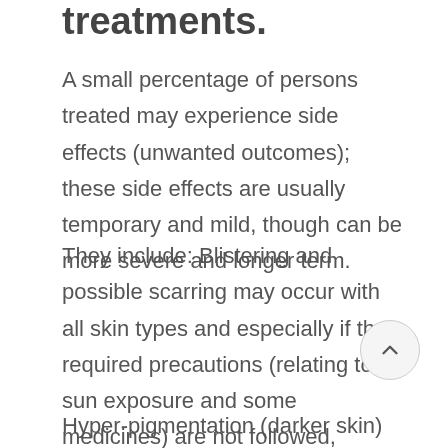treatments.
A small percentage of persons treated may experience side effects (unwanted outcomes); these side effects are usually temporary and mild, though can be more severe and longer term.
They include: Blistering and possible scarring may occur with all skin types and especially if the required precautions (relating to sun exposure and some medicines) are not followed, before, during and after treatment.
Hyper-pigmentation (darker skin) can occur because of inflammation caused by laser